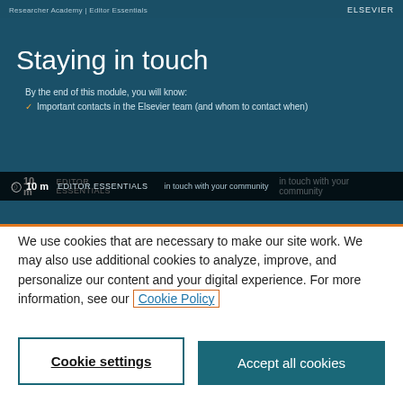[Figure (screenshot): Screenshot of Elsevier Researcher Academy / Editor Essentials e-learning page showing a slide titled 'Staying in touch' with learning objectives listed, a 10-minute duration indicator, and 'EDITOR ESSENTIALS' label. The slide has a dark teal background. An orange border separates the slide from the cookie consent dialog below.]
We use cookies that are necessary to make our site work. We may also use additional cookies to analyze, improve, and personalize our content and your digital experience. For more information, see our Cookie Policy
Cookie settings
Accept all cookies